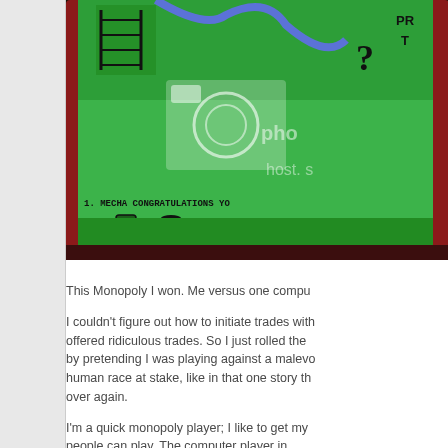[Figure (photo): Photo of a handheld electronic Monopoly game showing a green screen with game pieces (top hat, shoe, iron/boot tokens) numbered 1, 2, 3 with £4083 displayed. Text at bottom reads '1. MECHA CONGRATULATIONS YO'. The device has a red/dark frame. A watermark overlay shows a camera icon and 'photo host.s' text.]
This Monopoly I won. Me versus one compu
I couldn't figure out how to initiate trades with offered ridiculous trades. So I just rolled the by pretending I was playing against a malevo human race at stake, like in that one story th over again.
I'm a quick monopoly player; I like to get my people can play. The computer player in